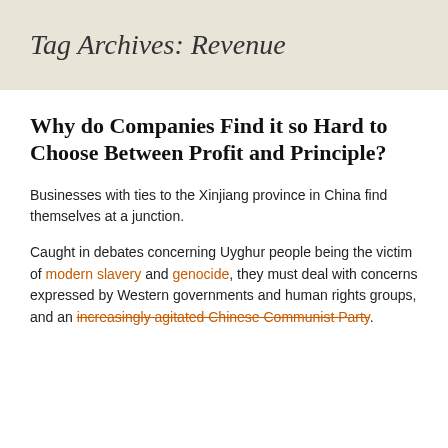Tag Archives: Revenue
Why do Companies Find it so Hard to Choose Between Profit and Principle?
Businesses with ties to the Xinjiang province in China find themselves at a junction.
Caught in debates concerning Uyghur people being the victim of modern slavery and genocide, they must deal with concerns expressed by Western governments and human rights groups, and an increasingly agitated Chinese Communist Party.